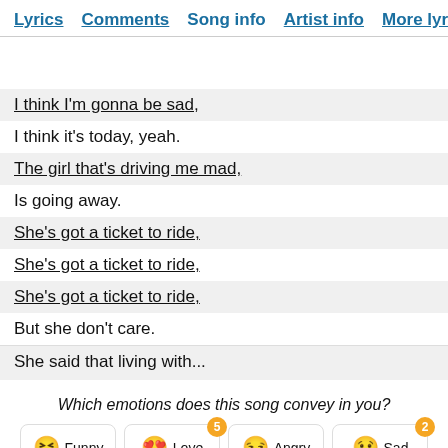Lyrics  Comments  Song info  Artist info  More lyrics
I think I'm gonna be sad,
I think it's today, yeah.
The girl that's driving me mad,
Is going away.
She's got a ticket to ride,
She's got a ticket to ride,
She's got a ticket to ride,
But she don't care.
She said that living with...
Which emotions does this song convey in you?
Funny  Love (5)  Angry  Sad (2)